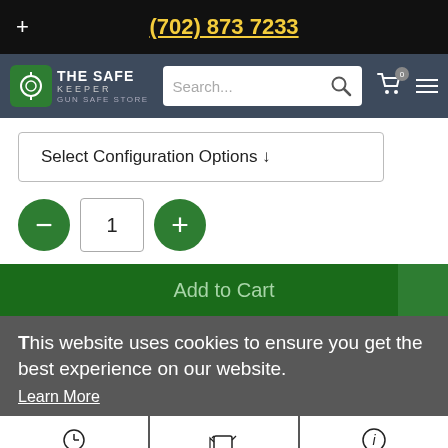(702) 873 7233
[Figure (logo): The Safe Keeper Gun Safe Store logo with green icon]
Select Configuration Options ↓
1
Add to Cart
This website uses cookies to ensure you get the best experience on our website.
Learn More
Delivery Options
Shipping Options
How to Apply for Financing
Got it!
Features: